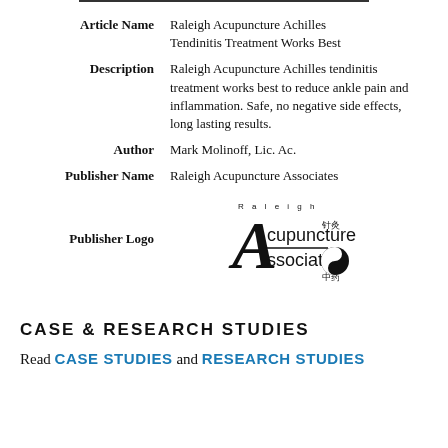| Field | Value |
| --- | --- |
| Article Name | Raleigh Acupuncture Achilles Tendinitis Treatment Works Best |
| Description | Raleigh Acupuncture Achilles tendinitis treatment works best to reduce ankle pain and inflammation. Safe, no negative side effects, long lasting results. |
| Author | Mark Molinoff, Lic. Ac. |
| Publisher Name | Raleigh Acupuncture Associates |
| Publisher Logo | [Raleigh Acupuncture Associates logo] |
CASE & RESEARCH STUDIES
Read CASE STUDIES and RESEARCH STUDIES